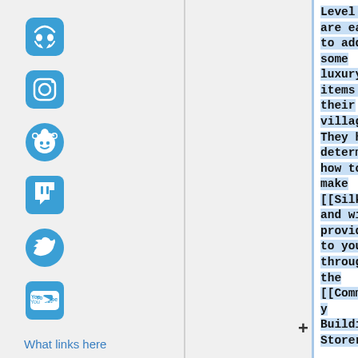[Figure (illustration): Discord icon (blue rounded square with game controller/smile)]
[Figure (illustration): Instagram icon (blue rounded square with camera outline)]
[Figure (illustration): Reddit alien icon (blue)]
[Figure (illustration): Twitch icon (blue)]
[Figure (illustration): Twitter bird icon (blue)]
[Figure (illustration): YouTube icon (blue rounded square with play button)]
What links here
Related changes
Special pages
Printable version
Permanent link
Page information
Level and are eager to add some luxury items to their village! They have determined how to make [[Silk]] and will provide it to you through the [[Community Buildings|Storeroom]